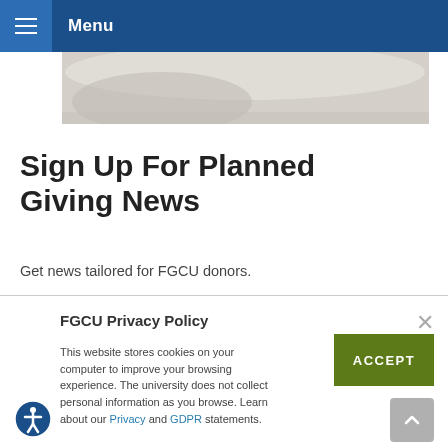Menu
[Figure (photo): Partial image visible at top of page, appears to be a close-up photograph with light tones]
Sign Up For Planned Giving News
Get news tailored for FGCU donors.
FGCU Privacy Policy
This website stores cookies on your computer to improve your browsing experience. The university does not collect personal information as you browse. Learn about our Privacy and GDPR statements.